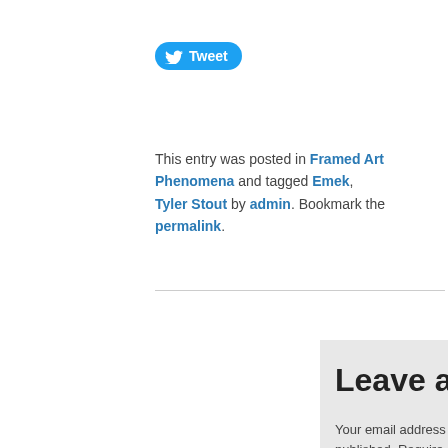[Figure (other): Twitter Tweet button with bird icon]
This entry was posted in Framed Art Phenomena and tagged Emek, Tyler Stout by admin. Bookmark the permalink.
Leave a Reply
Your email address will not be published. Require *
Comment